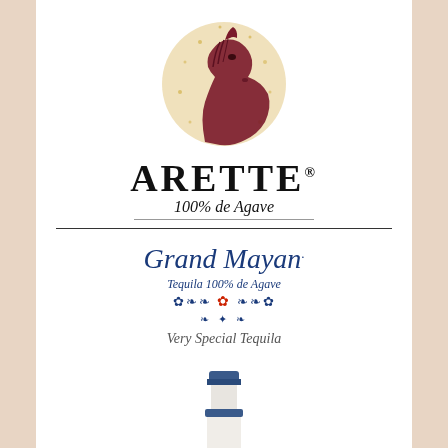[Figure (logo): Arette tequila logo: a dark red horse head illustration inside a golden circular textured background, above the brand name ARETTE with 100% de Agave in script]
[Figure (logo): Grand Mayan tequila logo and bottle: blue italic text 'Grand Mayan.' with 'Tequila 100% de Agave' subtitle, decorative ornamental dividers with red flower, cursive signature 'Very Special Tequila', and a decorative Talavera-style ceramic bottle]